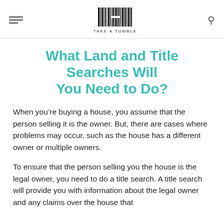TAKE A TUMBLE
What Land and Title Searches Will You Need to Do?
When you’re buying a house, you assume that the person selling it is the owner. But, there are cases where problems may occur, such as the house has a different owner or multiple owners.
To ensure that the person selling you the house is the legal owner, you need to do a title search. A title search will provide you with information about the legal owner and any claims over the house that